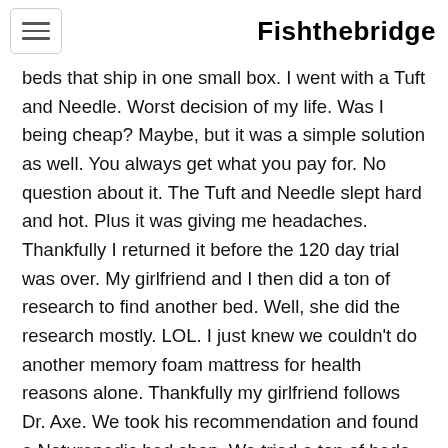Fishthebridge
beds that ship in one small box. I went with a Tuft and Needle. Worst decision of my life. Was I being cheap? Maybe, but it was a simple solution as well. You always get what you pay for. No question about it. The Tuft and Needle slept hard and hot. Plus it was giving me headaches. Thankfully I returned it before the 120 day trial was over. My girlfriend and I then did a ton of research to find another bed. Well, she did the research mostly. LOL. I just knew we couldn't do another memory foam mattress for health reasons alone. Thankfully my girlfriend follows Dr. Axe. We took his recommendation and found a Naturepedic bed shop. We tried a ton of beds but eventually went with the Cal King EOS. It took a bit of time to arrive at my house, but it was right around Thanksgiving so I can't complain much about